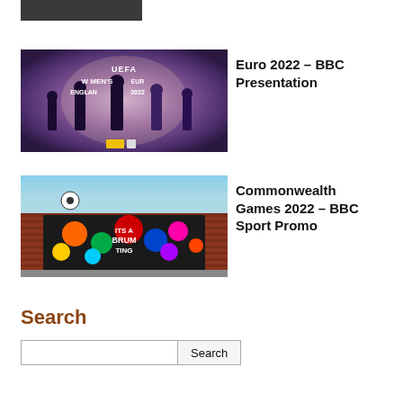[Figure (photo): Partial top image, dark/grey thumbnail cropped at top of page]
[Figure (photo): UEFA Women's Euro England 2022 BBC Presentation - people on stage in dark studio setting]
Euro 2022 – BBC Presentation
[Figure (photo): Commonwealth Games 2022 – mural on brick building saying ITS A BRUM TING with colorful artwork]
Commonwealth Games 2022 – BBC Sport Promo
Search
Search (input field and button)